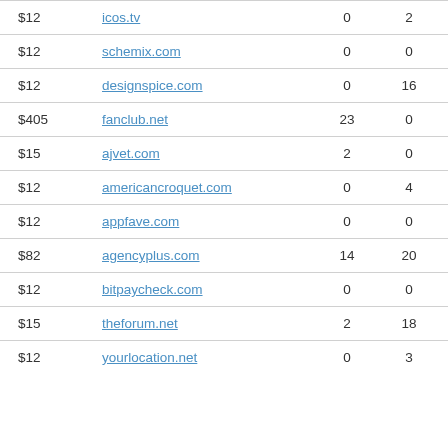| Price | Domain | Col1 | Col2 | Value |
| --- | --- | --- | --- | --- |
| $12 | icos.tv | 0 | 2 | $1789 |
| $12 | schemix.com | 0 | 0 | $1933 |
| $12 | designspice.com | 0 | 16 | $1706 |
| $405 | fanclub.net | 23 | 0 | $8321 |
| $15 | ajvet.com | 2 | 0 | $1128 |
| $12 | americancroquet.com | 0 | 4 | $1641 |
| $12 | appfave.com | 0 | 0 | $1212 |
| $82 | agencyplus.com | 14 | 20 | $2656 |
| $12 | bitpaycheck.com | 0 | 0 | $1823 |
| $15 | theforum.net | 2 | 18 | $2007 |
| $12 | yourlocation.net | 0 | 3 | $997 |